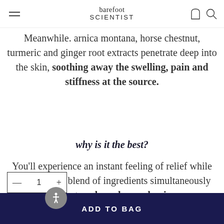barefoot SCIENTIST
Meanwhile. arnica montana, horse chestnut, turmeric and ginger root extracts penetrate deep into the skin, soothing away the swelling, pain and stiffness at the source.
why is it the best?
You'll experience an instant feeling of relief while our powerful blend of ingredients simultaneously works to calm aches and pains
— 1 +
ADD TO BAG